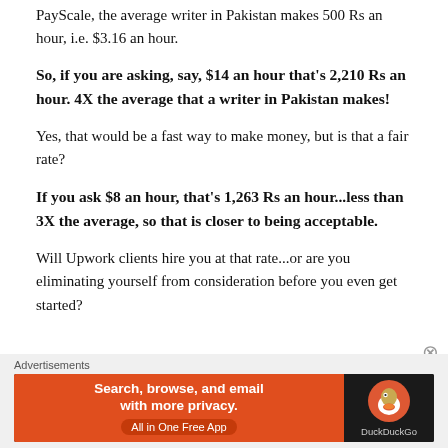PayScale, the average writer in Pakistan makes 500 Rs an hour, i.e. $3.16 an hour.
So, if you are asking, say, $14 an hour that's 2,210 Rs an hour. 4X the average that a writer in Pakistan makes!
Yes, that would be a fast way to make money, but is that a fair rate?
If you ask $8 an hour, that's 1,263 Rs an hour...less than 3X the average, so that is closer to being acceptable.
Will Upwork clients hire you at that rate...or are you eliminating yourself from consideration before you even get started?
[Figure (infographic): DuckDuckGo advertisement banner with orange left panel reading 'Search, browse, and email with more privacy. All in One Free App' and dark right panel with DuckDuckGo logo]